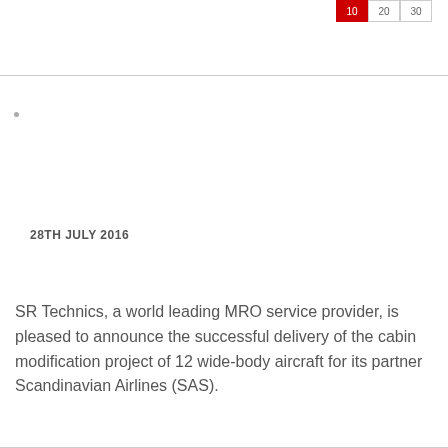10 20 30
28TH JULY 2016
SR Technics, a world leading MRO service provider, is pleased to announce the successful delivery of the cabin modification project of 12 wide-body aircraft for its partner Scandinavian Airlines (SAS).